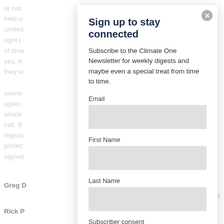or not ... how, held o ... f the United ... he right t ... period of time ... hat is yes. A ... s, they w ... overw ... And again, ... to whate ... e's call. B... legisla ... ing to protec ... signed ...
Greg D ... ured by pra ...
Rick P...
Sign up to stay connected
Subscribe to the Climate One Newsletter for weekly digests and maybe even a special treat from time to time.
Email
First Name
Last Name
Subscriber consent
I consent to receiving email communications.